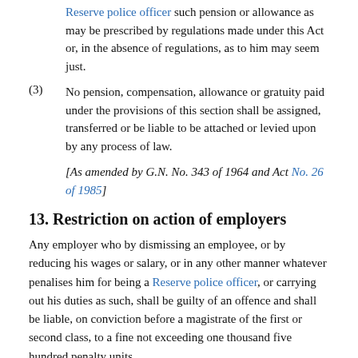Reserve police officer such pension or allowance as may be prescribed by regulations made under this Act or, in the absence of regulations, as to him may seem just.
(3) No pension, compensation, allowance or gratuity paid under the provisions of this section shall be assigned, transferred or be liable to be attached or levied upon by any process of law.
[As amended by G.N. No. 343 of 1964 and Act No. 26 of 1985]
13. Restriction on action of employers
Any employer who by dismissing an employee, or by reducing his wages or salary, or in any other manner whatever penalises him for being a Reserve police officer, or carrying out his duties as such, shall be guilty of an offence and shall be liable, on conviction before a magistrate of the first or second class, to a fine not exceeding one thousand five hundred penalty units.
[As amended by Act No. 13 of 1994]